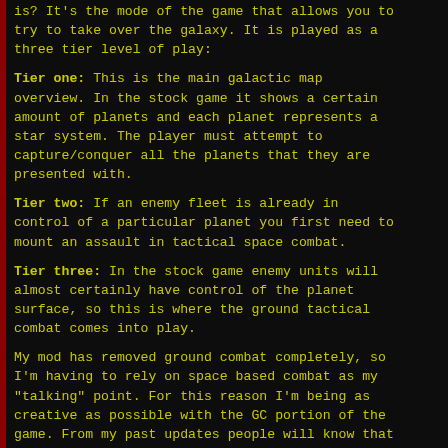is? It's the mode of the game that allows you to try to take over the galaxy. It is played as a three tier level of play:
Tier one: This is the main galactic map overview. In the stock game it shows a certain amount of planets and each planet represents a star system. The player must attempt to capture/conquer all the planets that they are presented with.
Tier two: If an enemy fleet is already in control of a particular planet you first need to mount an assault in tactical space combat.
Tier three: In the stock game enemy units will almost certainly have control of the planet surface, so this is where the ground tactical combat comes into play.
My mod has removed ground combat completely, so I'm having to rely on space based combat as my "talking" point. For this reason I'm being as creative as possible with the GC portion of the game. From my past updates people will know that I'm in the process of putting together a custom GC based around our own solar system (it's sort